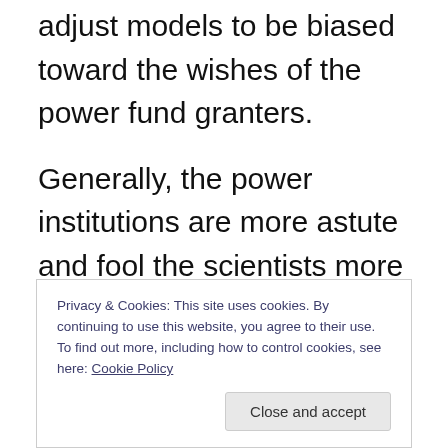under their belt, know how to tamper and adjust models to be biased toward the wishes of the power fund granters.
Generally, the power institutions are more astute and fool the scientists more often than not, but it is a game that the scientist learn to grasp and play in due time.
I doubt that any model for predicting human
Privacy & Cookies: This site uses cookies. By continuing to use this website, you agree to their use.
To find out more, including how to control cookies, see here: Cookie Policy
Close and accept